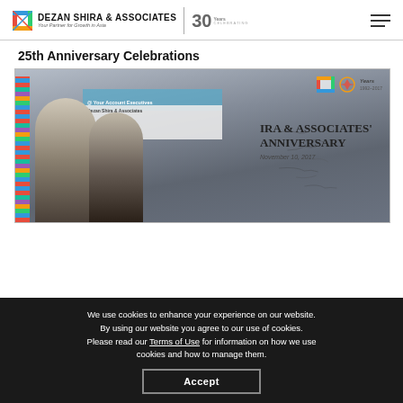DEZAN SHIRA & ASSOCIATES - Your Partner for Growth in Asia | 30 Years Celebrating
25th Anniversary Celebrations
[Figure (photo): Two men posing in front of a Dezan Shira & Associates 25th Anniversary backdrop signed by guests, with a colorful model tower on the left. Text on backdrop: IRA & ASSOCIATES' ANNIVERSARY, November 10, 2017. Logo shows Years 1992-2017.]
We use cookies to enhance your experience on our website. By using our website you agree to our use of cookies. Please read our Terms of Use for information on how we use cookies and how to manage them.
Accept